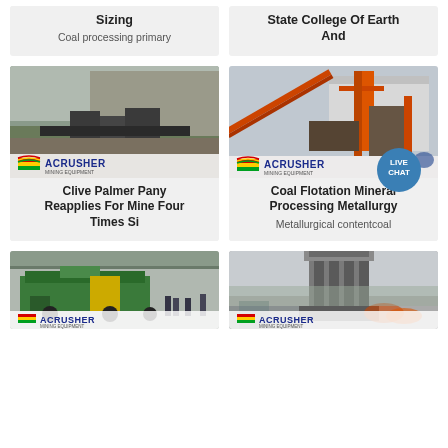Sizing
Coal processing primary
State College Of Earth And
[Figure (photo): Mining quarry site with crushing equipment and ACRUSHER Mining Equipment branding]
[Figure (photo): Industrial conveyor and crushing plant with ACRUSHER Mining Equipment branding and LIVE CHAT bubble overlay]
Clive Palmer Pany Reapplies For Mine Four Times Si
Coal Flotation Mineral Processing Metallurgy
Metallurgical contentcoal
[Figure (photo): Mobile crushing plant (green machine) inside a factory building with workers nearby and ACRUSHER branding]
[Figure (photo): Industrial dust collector or filter unit at an outdoor mining site with ACRUSHER branding]